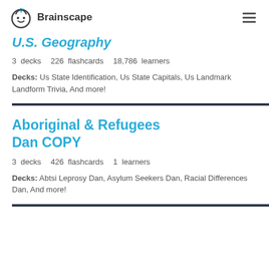Brainscape
U.S. Geography
3 decks   226 flashcards   18,786 learners
Decks: Us State Identification, Us State Capitals, Us Landmark Landform Trivia, And more!
Aboriginal & Refugees Dan COPY
3 decks   426 flashcards   1 learners
Decks: Abtsi Leprosy Dan, Asylum Seekers Dan, Racial Differences Dan, And more!